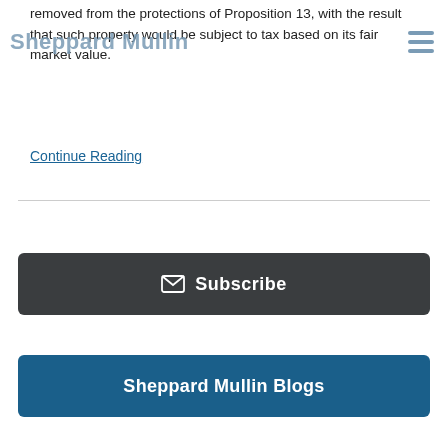Sheppard Mullin
removed from the protections of Proposition 13, with the result that such property would be subject to tax based on its fair market value.
Continue Reading
✉ Subscribe
Sheppard Mullin Blogs